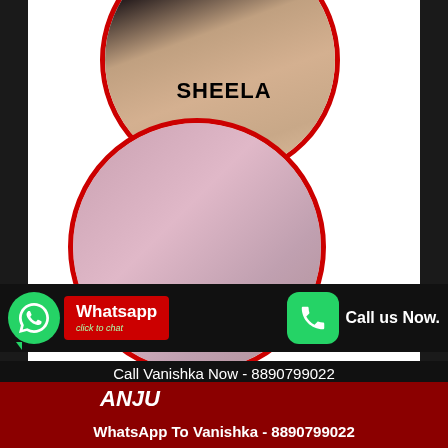[Figure (photo): Circular cropped photo of Sheela partially visible at top, with red circular border, dark background]
SHEELA
[Figure (photo): Circular cropped photo of Vanishka with red circular border, pink background]
Whatsapp click to chat
Call us Now.
Call Vanishka Now - 8890799022
ANJU
WhatsApp To Vanishka - 8890799022